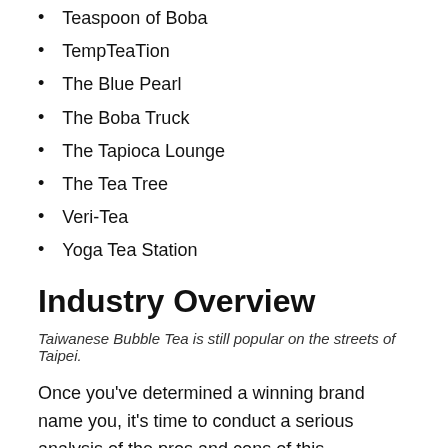Teaspoon of Boba
TempTeaTion
The Blue Pearl
The Boba Truck
The Tapioca Lounge
The Tea Tree
Veri-Tea
Yoga Tea Station
Industry Overview
Taiwanese Bubble Tea is still popular on the streets of Taipei.
Once you've determined a winning brand name you, it's time to conduct a serious analysis of the pros and cons of this